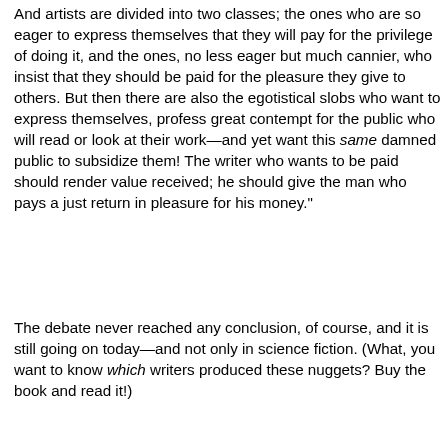And artists are divided into two classes; the ones who are so eager to express themselves that they will pay for the privilege of doing it, and the ones, no less eager but much cannier, who insist that they should be paid for the pleasure they give to others. But then there are also the egotistical slobs who want to express themselves, profess great contempt for the public who will read or look at their work—and yet want this same damned public to subsidize them! The writer who wants to be paid should render value received; he should give the man who pays a just return in pleasure for his money."
The debate never reached any conclusion, of course, and it is still going on today—and not only in science fiction. (What, you want to know which writers produced these nuggets? Buy the book and read it!)